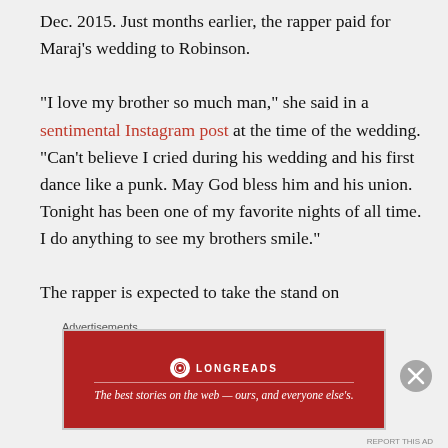Dec. 2015. Just months earlier, the rapper paid for Maraj's wedding to Robinson.
“I love my brother so much man,” she said in a sentimental Instagram post at the time of the wedding. “Can’t believe I cried during his wedding and his first dance like a punk. May God bless him and his union. Tonight has been one of my favorite nights of all time. I do anything to see my brothers smile.”
The rapper is expected to take the stand on
Advertisements
[Figure (other): Longreads advertisement banner: red background with Longreads logo and tagline 'The best stories on the web — ours, and everyone else’s.']